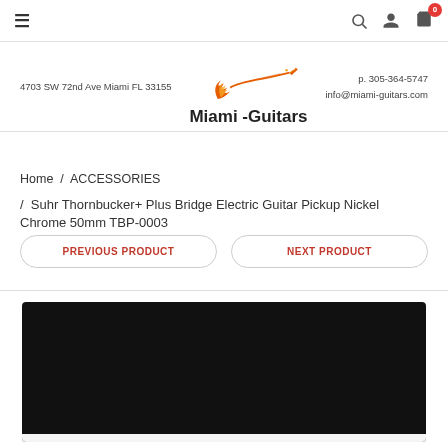≡  🔍  👤  🛒 0
[Figure (logo): Miami-Guitars logo with flaming guitar graphic. Address: 4703 SW 72nd Ave Miami FL 33155. Contact: p. 305-364-5747, info@miami-guitars.com]
Home / ACCESSORIES
/ Suhr Thornbucker+ Plus Bridge Electric Guitar Pickup Nickel Chrome 50mm TBP-0003
PREVIOUS PRODUCT
NEXT PRODUCT
[Figure (photo): Black product image area with white bar at bottom, partially visible guitar pickup product image]